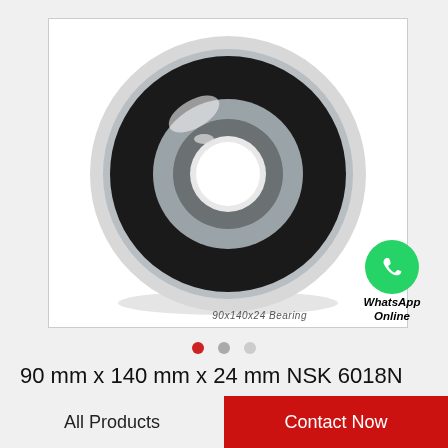[Figure (photo): A deep groove ball bearing (90x140x24 mm, NSK 6018N) shown at an angle, with steel outer ring and black rubber seals. White background with light gray shadow underneath.]
90x140x24 Bearing
[Figure (logo): WhatsApp logo (green circle with white phone handset icon) and text 'WhatsApp Online' below it.]
90 mm x 140 mm x 24 mm NSK 6018N deep groove ball bearings
All Products
Contact Now